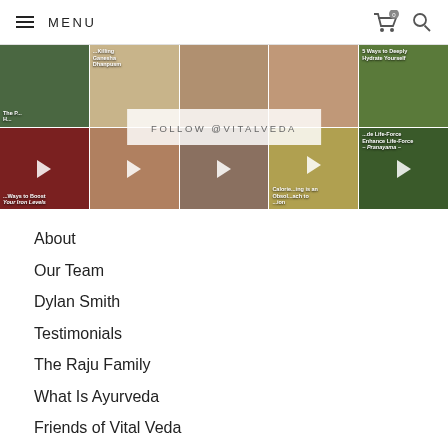MENU
[Figure (photo): Instagram feed grid showing multiple video thumbnails with topics like iron levels, Ganesha, hydration, calorie counting, pranayama, and a FOLLOW @VITALVEDA overlay in the center]
About
Our Team
Dylan Smith
Testimonials
The Raju Family
What Is Ayurveda
Friends of Vital Veda
Services